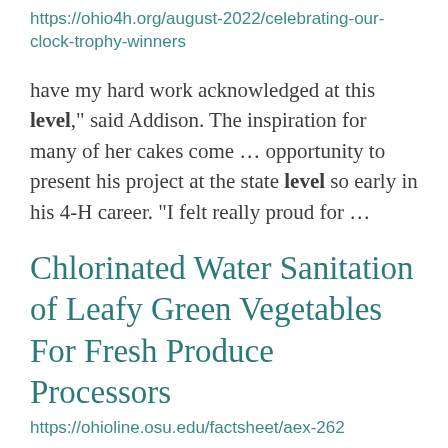https://ohio4h.org/august-2022/celebrating-our-clock-trophy-winners
have my hard work acknowledged at this level," said Addison. The inspiration for many of her cakes come ... opportunity to present his project at the state level so early in his 4-H career. "I felt really proud for ...
Chlorinated Water Sanitation of Leafy Green Vegetables For Fresh Produce Processors
https://ohioline.osu.edu/factsheet/aex-262
granulated powder 65 or 68% free active chlorine high capital, high operation